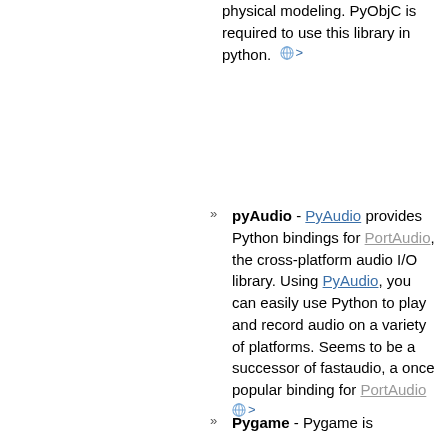physical modeling. PyObjC is required to use this library in python. [globe] >
pyAudio - PyAudio provides Python bindings for PortAudio, the cross-platform audio I/O library. Using PyAudio, you can easily use Python to play and record audio on a variety of platforms. Seems to be a successor of fastaudio, a once popular binding for PortAudio [globe] >
Pygame - Pygame is